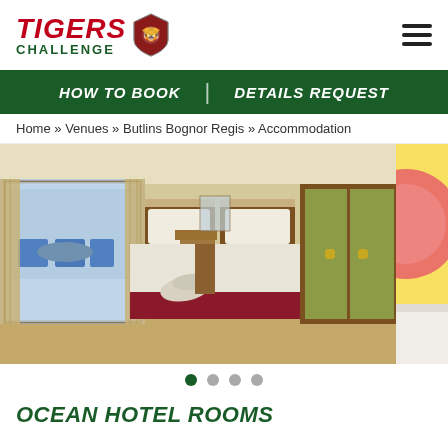TIGERS CHALLENGE logo and navigation hamburger menu
HOW TO BOOK | DETAILS REQUEST
Home » Venues » Butlins Bognor Regis » Accommodation
[Figure (photo): Hotel twin room at Butlins Bognor Regis with two single beds with red bed runners, towels folded on one bed, yellow wardrobe, and a balcony with blue chairs visible through glass doors. A second partial image is visible on the right side.]
Slideshow dots navigation: 4 dots, first one active (dark green)
OCEAN HOTEL ROOMS